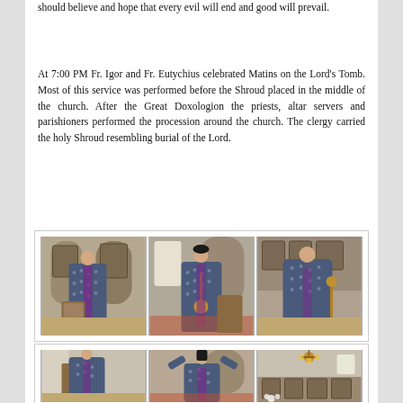should believe and hope that every evil will end and good will prevail.
At 7:00 PM Fr. Igor and Fr. Eutychius celebrated Matins on the Lord's Tomb. Most of this service was performed before the Shroud placed in the middle of the church. After the Great Doxologion the priests, altar servers and parishioners performed the procession around the church. The clergy carried the holy Shroud resembling burial of the Lord.
[Figure (photo): Three photos side by side showing Orthodox priests in patterned vestments performing a religious service at an altar with icons.]
[Figure (photo): Three photos side by side showing Orthodox priests in patterned vestments during a procession and church interior with chandelier.]